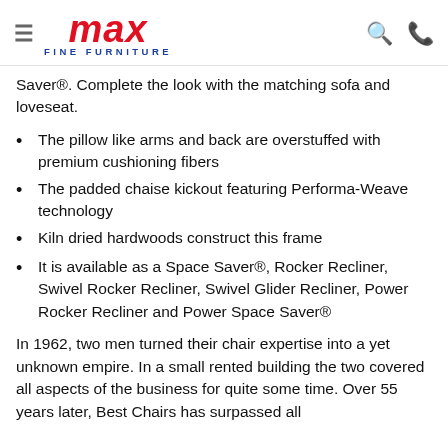MAX FINE FURNITURE (logo header with hamburger menu, search, and phone icons)
Saver®. Complete the look with the matching sofa and loveseat.
The pillow like arms and back are overstuffed with premium cushioning fibers
The padded chaise kickout featuring Performa-Weave technology
Kiln dried hardwoods construct this frame
It is available as a Space Saver®, Rocker Recliner, Swivel Rocker Recliner, Swivel Glider Recliner, Power Rocker Recliner and Power Space Saver®
In 1962, two men turned their chair expertise into a yet unknown empire. In a small rented building the two covered all aspects of the business for quite some time. Over 55 years later, Best Chairs has surpassed all